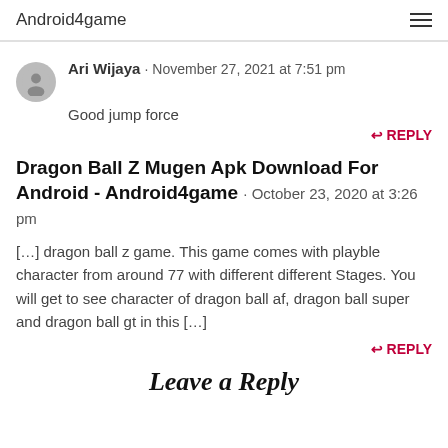Android4game
Ari Wijaya · November 27, 2021 at 7:51 pm
Good jump force
↩ REPLY
Dragon Ball Z Mugen Apk Download For Android - Android4game · October 23, 2020 at 3:26 pm
[…] dragon ball z game. This game comes with playble character from around 77 with different different Stages. You will get to see character of dragon ball af, dragon ball super and dragon ball gt in this […]
↩ REPLY
Leave a Reply